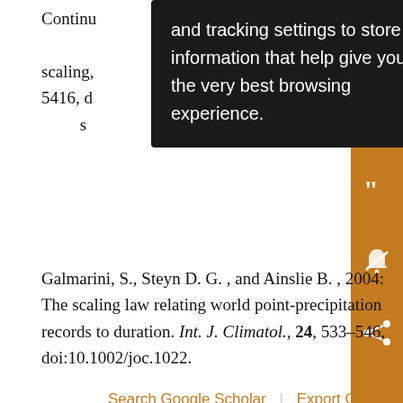Continuu... and tracking settings to store ry, scaling, information that help give you 403–5416, d the very best browsing experience. s
Galmarini, S., Steyn D. G. , and Ainslie B. , 2004: The scaling law relating world point-precipitation records to duration. Int. J. Climatol., 24, 533–546, doi:10.1002/joc.1022.
Search Google Scholar | Export Citation
Hannachi, A., 2013: Intermittency, autoregression and censoring: A first-order AR model for daily precipitation. Meteor. Appl., doi:10.1002/met.1353, in press.
Search Google Scholar | Export Citation